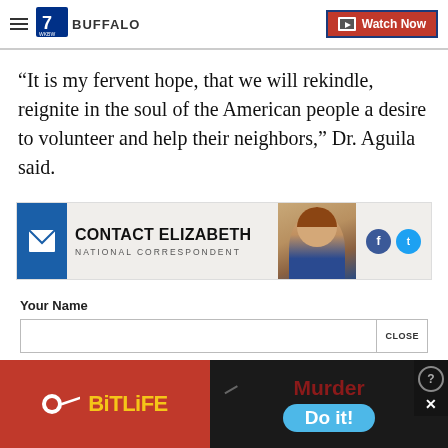7 Buffalo | Watch Now
“It is my fervent hope, that we will rekindle, reignite in the soul of the American people a desire to volunteer and help their neighbors,” Dr. Aguila said.
[Figure (infographic): Contact Elizabeth - National Correspondent banner with photo, envelope icon, and Facebook/Twitter social icons]
Your Name
[Figure (infographic): BitLife advertisement banner and Murder/Do it! game advertisement banner at bottom of page]